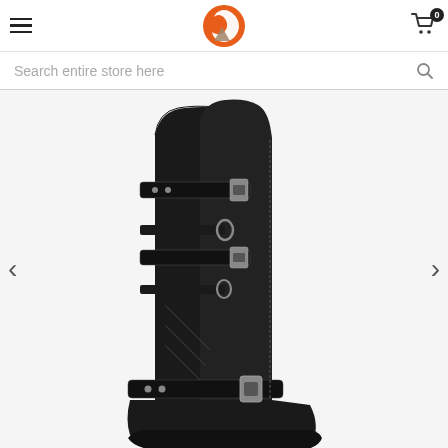[Figure (logo): Orange and brown/beige circular logo mark in the center of the navigation header]
[Figure (screenshot): E-commerce product page showing a black suede knee-high boot with buckle straps, displayed on a light gray background. Navigation header with hamburger menu, logo, and cart icon (0 items). Search bar below header. Left and right navigation arrows for image carousel.]
Search entire store here